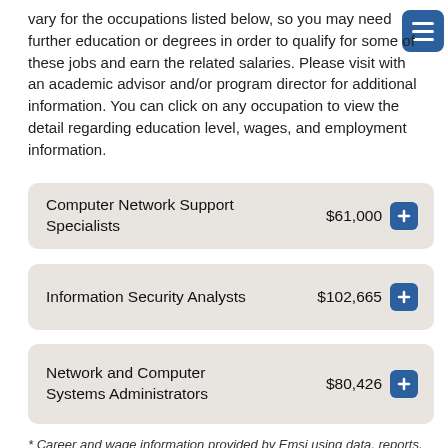vary for the occupations listed below, so you may need further education or degrees in order to qualify for some of these jobs and earn the related salaries. Please visit with an academic advisor and/or program director for additional information. You can click on any occupation to view the detail regarding education level, wages, and employment information.
Computer Network Support Specialists  $61,000
Information Security Analysts  $102,665
Network and Computer Systems Administrators  $80,426
* Career and wage information provided by Emsi using data, reports, and forecasts which are generated using government data sources and Emsi's proprietary analytical processes. Emsi's data covers multiple classes of workers including QCEW, non-QCEW, and those who are self-employed. Disclaimer